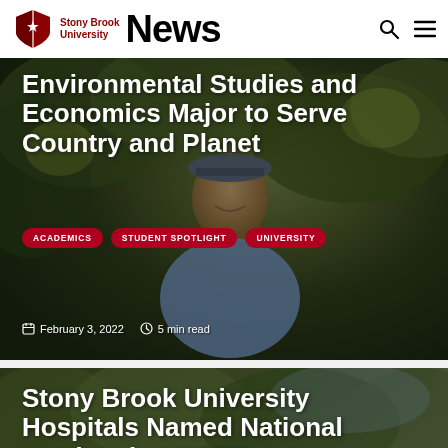Stony Brook University News
Environmental Studies and Economics Major to Serve Country and Planet
ACADEMICS
STUDENT SPOTLIGHT
UNIVERSITY
February 3, 2022   5 min read
Stony Brook University Hospitals Named National Leaders in LGBTQ+ Healthcare Equality